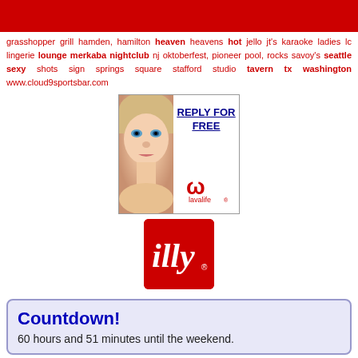[Figure (other): Red banner bar at top of page]
grasshopper grill hamden, hamilton heaven heavens hot jello jt's karaoke ladies lc lingerie lounge merkaba nightclub nj oktoberfest, pioneer pool, rocks savoy's seattle sexy shots sign springs square stafford studio tavern tx washington www.cloud9sportsbar.com
[Figure (advertisement): Lavalife dating site ad showing a woman's face with REPLY FOR FREE text and lavalife logo]
[Figure (logo): illy coffee logo - red square with white italic illy text]
Countdown! 60 hours and 51 minutes until the weekend.